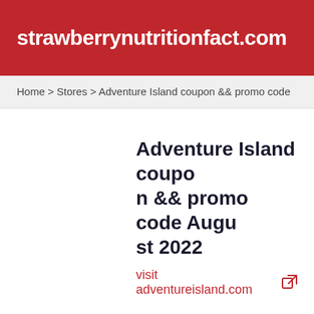strawberrynutritionfact.com
Home > Stores > Adventure Island coupon && promo code
Adventure Island coupon && promo code August 2022
visit adventureisland.com
Total Offers
Coupons: 6